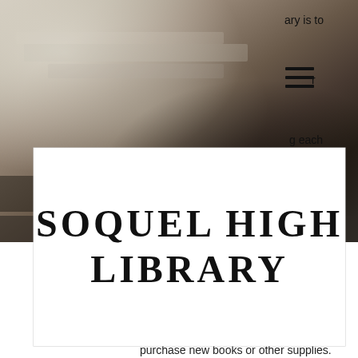[Figure (photo): Blurred photograph of books/library shelves as website background header image, with partial text visible on the right side partially obscured: 'ary is to', 'r', 'g each', 'e', 'rt the', 's, a', 'elong']
[Figure (logo): White box overlay with vintage stamp-style text reading 'SOQUEL HIGH LIBRARY']
learning.
Support Us
Due to years of budget cuts in school libraries, we have very little funds to purchase new books or other supplies. Your support is greatly appreciated. You can help us by: